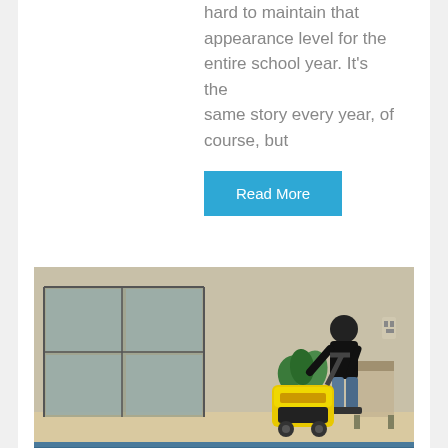hard to maintain that appearance level for the entire school year. It's the same story every year, of course, but
Read More
[Figure (photo): A man in a black shirt operating a yellow floor scrubber machine near an indoor swimming pool, with glass doors and chairs visible in the background.]
07
7 Reasons to Consider Micro